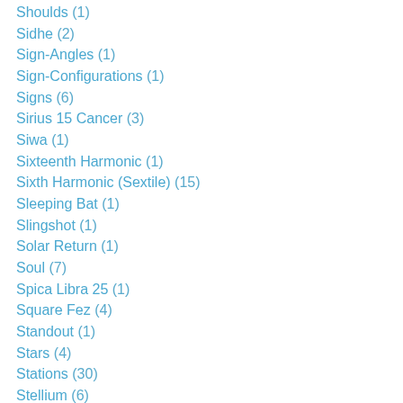Shoulds (1)
Sidhe (2)
Sign-Angles (1)
Sign-Configurations (1)
Signs (6)
Sirius 15 Cancer (3)
Siwa (1)
Sixteenth Harmonic (1)
Sixth Harmonic (Sextile) (15)
Sleeping Bat (1)
Slingshot (1)
Solar Return (1)
Soul (7)
Spica Libra 25 (1)
Square Fez (4)
Standout (1)
Stars (4)
Stations (30)
Stellium (6)
Stinkbug (1)